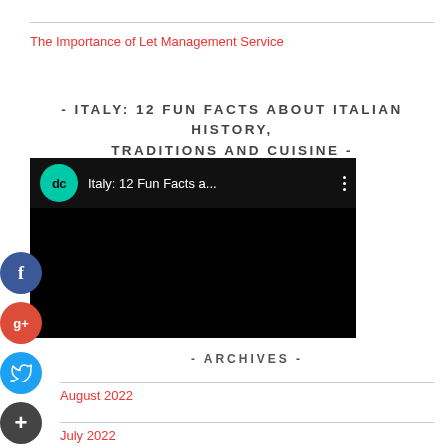The Importance of Let Management Service
- ITALY: 12 FUN FACTS ABOUT ITALIAN HISTORY, TRADITIONS AND CUISINE -
[Figure (screenshot): Embedded video thumbnail showing 'Italy: 12 Fun Facts a...' with a teal DC logo on a black background]
- ARCHIVES -
August 2022
July 2022